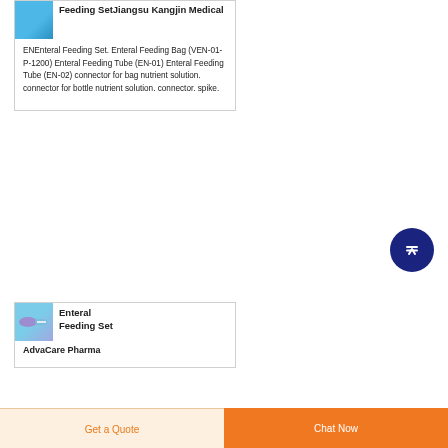Feeding SetJiangsu Kangjin Medical
ENEnteral Feeding Set. Enteral Feeding Bag (VEN-01-P-1200) Enteral Feeding Tube (EN-01) Enteral Feeding Tube (EN-02) connector for bag nutrient solution. connector for bottle nutrient solution. connector. spike.
Enteral Feeding Set AdvaCare Pharma
Get a Quote
Chat Now